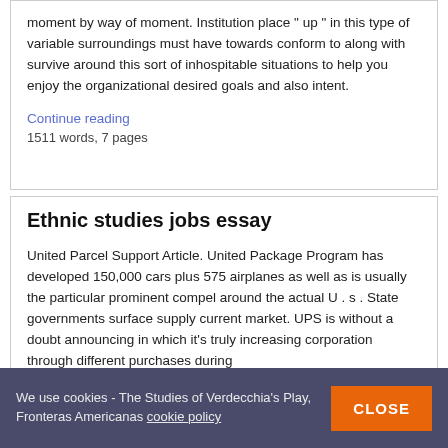moment by way of moment. Institution place "up" in this type of variable surroundings must have towards conform to along with survive around this sort of inhospitable situations to help you enjoy the organizational desired goals and also intent.
Continue reading
1511 words, 7 pages
Ethnic studies jobs essay
United Parcel Support Article. United Package Program has developed 150,000 cars plus 575 airplanes as well as is usually the particular prominent compel around the actual U . s . State governments surface supply current market. UPS is without a doubt announcing in which it's truly increasing corporation through different purchases during
We use cookies - The Studies of Verdecchia's Play, Fronteras Americanas cookie policy